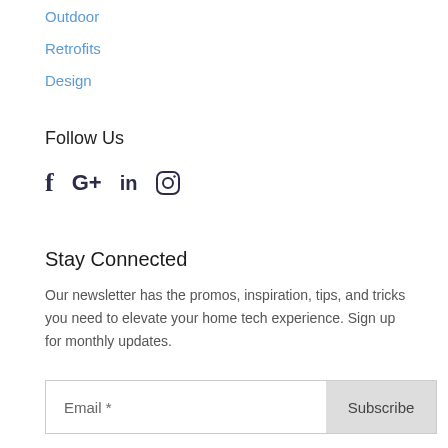Outdoor
Retrofits
Design
Follow Us
[Figure (infographic): Social media icons: Facebook (f), Google+ (G+), LinkedIn (in), Instagram (camera icon)]
Stay Connected
Our newsletter has the promos, inspiration, tips, and tricks you need to elevate your home tech experience. Sign up for monthly updates.
Email *  Subscribe